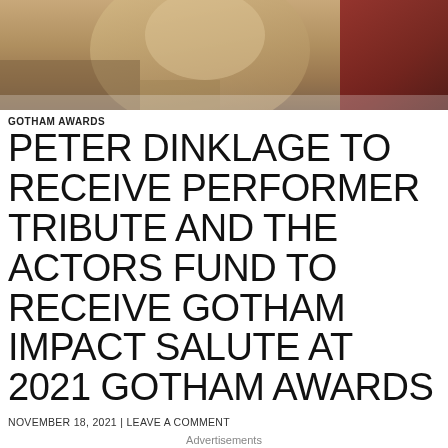[Figure (photo): Top portion of a photo showing a person in a tan/beige costume with a red fabric/scarf, appearing to be from a TV show or film production. Stone wall visible in background.]
GOTHAM AWARDS
PETER DINKLAGE TO RECEIVE PERFORMER TRIBUTE AND THE ACTORS FUND TO RECEIVE GOTHAM IMPACT SALUTE AT 2021 GOTHAM AWARDS
NOVEMBER 18, 2021 | LEAVE A COMMENT
Advertisements